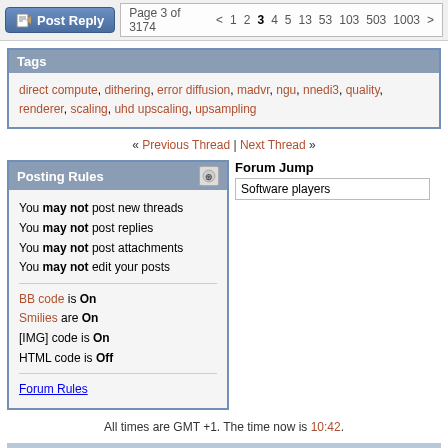Post Reply  Page 3 of 3174  < 1 2 3 4 5 13 53 103 503 1003 >
Tags
direct compute, dithering, error diffusion, madvr, ngu, nnedi3, quality, renderer, scaling, uhd upscaling, upsampling
« Previous Thread | Next Thread »
Posting Rules
You may not post new threads
You may not post replies
You may not post attachments
You may not edit your posts
BB code is On
Smilies are On
[IMG] code is On
HTML code is Off
Forum Rules
Forum Jump
Software players
All times are GMT +1. The time now is 10:42.
Doom9.org - Archive - Top
Powered by vBulletin® Version 3.8.11
Copyright ©2000 - 2022, vBulletin Solutions Inc.